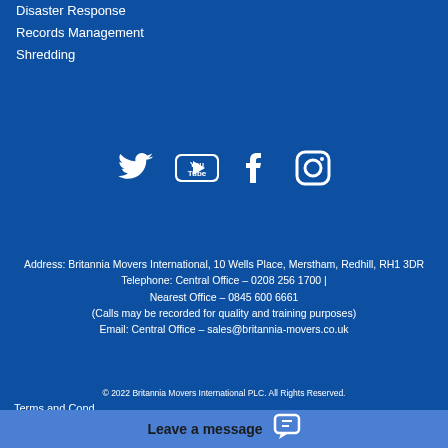Disaster Response
Records Management
Shredding
[Figure (illustration): Social media icons: Twitter, YouTube, Facebook, Instagram in white on blue background]
Address: Britannia Movers International, 10 Wells Place, Merstham, Redhill, RH1 3DR
Telephone: Central Office – 0208 256 1700 | Nearest Office – 0845 600 6661
(Calls may be recorded for quality and training purposes)
Email: Central Office – sales@britannia-movers.co.uk
© 2022 Britannia Movers International PLC. All Rights Reserved.
Terms and Cond…
Leave a message